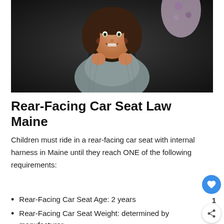[Figure (photo): A young child smiling while secured in a car seat, wearing a grey jacket with floral fabric visible behind.]
Rear-Facing Car Seat Law Maine
Children must ride in a rear-facing car seat with internal harness in Maine until they reach ONE of the following requirements:
Rear-Facing Car Seat Age: 2 years
Rear-Facing Car Seat Weight: determined by manufacturer